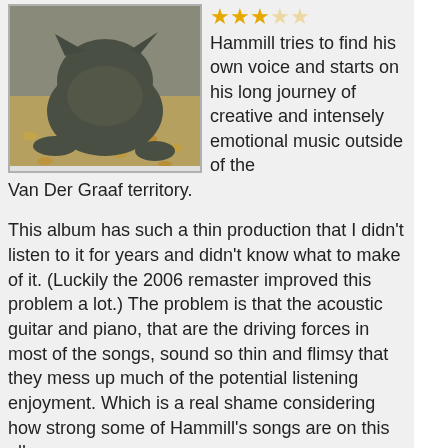[Figure (photo): A cat eating or sniffing food from a bowl, seen from above, surrounded by scattered dry cat food kibble.]
Hammill tries to find his own voice and starts on his long journey of creative and intensely emotional music outside of the Van Der Graaf territory.
This album has such a thin production that I didn't listen to it for years and didn't know what to make of it. (Luckily the 2006 remaster improved this problem a lot.) The problem is that the acoustic guitar and piano, that are the driving forces in most of the songs, sound so thin and flimsy that they mess up much of the potential listening enjoyment. Which is a real shame considering how strong some of Hammill's songs are on this album.
As on the first solo album, Hammill added some Van Der Graaf left-overs (Rock n Roll and Black Room) to complete the album. They are both strong tracks